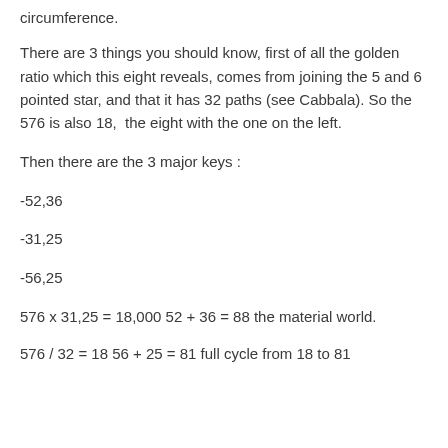circumference.
There are 3 things you should know, first of all the golden ratio which this eight reveals, comes from joining the 5 and 6 pointed star, and that it has 32 paths (see Cabbala). So the 576 is also 18,  the eight with the one on the left.
Then there are the 3 major keys :
-52,36
-31,25
-56,25
576 x 31,25 = 18,000 52 + 36 = 88 the material world.
576 / 32 = 18 56 + 25 = 81 full cycle from 18 to 81